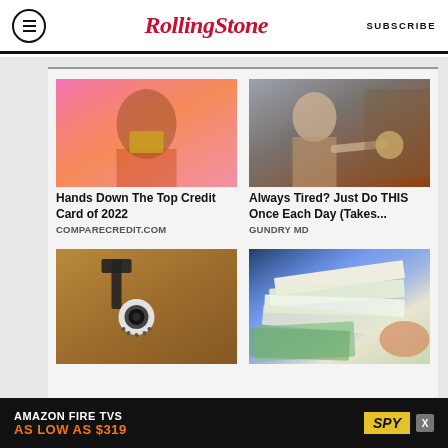Rolling Stone | SUBSCRIBE
[Figure (photo): Ad image: woman with credit card against pink background]
Hands Down The Top Credit Card of 2022
COMPARECREDIT.COM
[Figure (photo): Ad image: doctor pointing at something, medical context]
Always Tired? Just Do THIS Once Each Day (Takes...
GUNDRY MD
[Figure (photo): Ad image: security camera mounted on wall]
[Figure (photo): Ad image: person handling financial documents and mail]
AMAZON FIRE TVS AS LOW AS $319
SPY